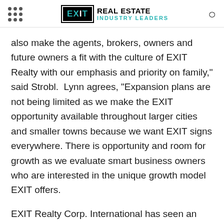EXIT REAL ESTATE INDUSTRY LEADERS
also make the agents, brokers, owners and future owners a fit with the culture of EXIT Realty with our emphasis and priority on family," said Strobl.  Lynn agrees, "Expansion plans are not being limited as we make the EXIT opportunity available throughout larger cities and smaller towns because we want EXIT signs everywhere. There is opportunity and room for growth as we evaluate smart business owners who are interested in the unique growth model EXIT offers.
EXIT Realty Corp. International has seen an increase across the US and Canada in the number of new markets opened, associates onboarded and